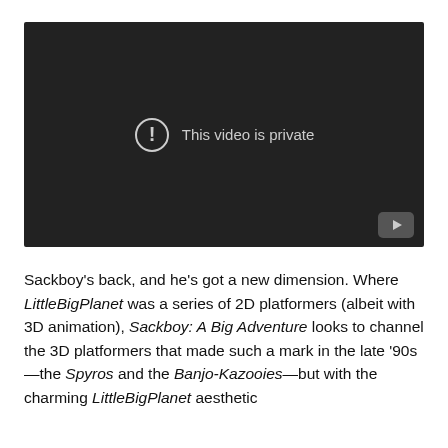[Figure (screenshot): Embedded video player showing 'This video is private' message on a dark background with a YouTube button in the bottom right corner.]
Sackboy's back, and he's got a new dimension. Where LittleBigPlanet was a series of 2D platformers (albeit with 3D animation), Sackboy: A Big Adventure looks to channel the 3D platformers that made such a mark in the late '90s—the Spyros and the Banjo-Kazooies—but with the charming LittleBigPlanet aesthetic